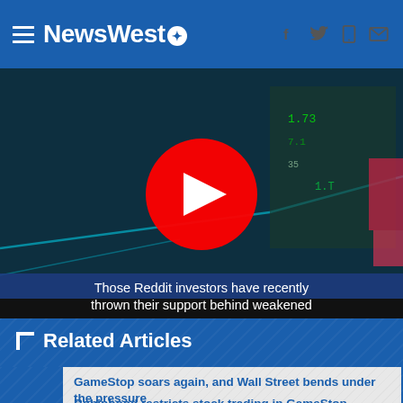NewsWest9
[Figure (screenshot): Video thumbnail showing stock market imagery with YouTube play button overlay and subtitle text: 'Those Reddit investors have recently thrown their support behind weakened']
Related Articles
GameStop soars again, and Wall Street bends under the pressure
Robinhood restricts stock trading in GameStop, sparking outcry